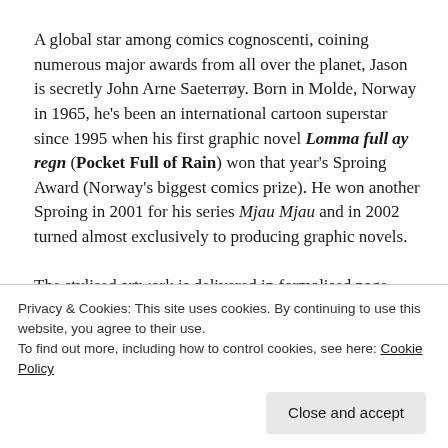A global star among comics cognoscenti, coining numerous major awards from all over the planet, Jason is secretly John Arne Saeterrøy. Born in Molde, Norway in 1965, he's been an international cartoon superstar since 1995 when his first graphic novel Lomma full ay regn (Pocket Full of Rain) won that year's Sproing Award (Norway's biggest comics prize). He won another Sproing in 2001 for his series Mjau Mjau and in 2002 turned almost exclusively to producing graphic novels.
The stylised artwork is delivered in formalised page
Privacy & Cookies: This site uses cookies. By continuing to use this website, you agree to their use.
To find out more, including how to control cookies, see here: Cookie Policy